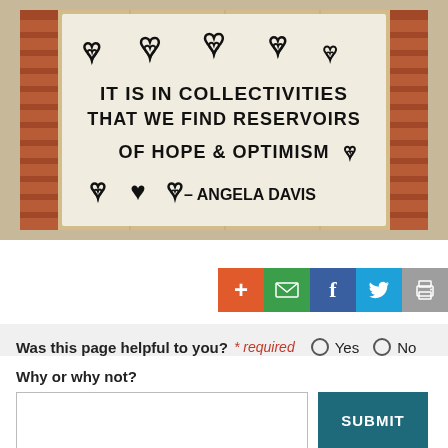[Figure (photo): Street mural on boarded wood surface with brick wall background. Text reads: IT IS IN COLLECTIVITIES THAT WE FIND RESERVOIRS OF HOPE & OPTIMISM - ANGELA DAVIS, decorated with heart symbols.]
Was this page helpful to you? * required   ○ Yes   ○ No
Why or why not?
SUBMIT